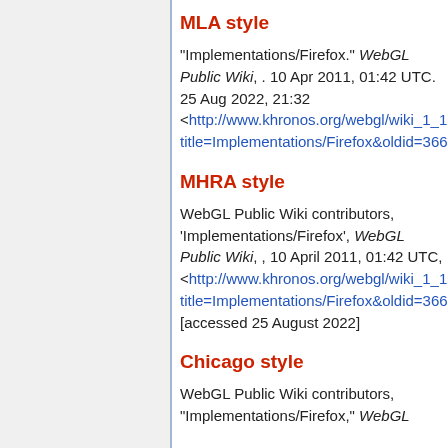MLA style
"Implementations/Firefox." WebGL Public Wiki, . 10 Apr 2011, 01:42 UTC. 25 Aug 2022, 21:32 <http://www.khronos.org/webgl/wiki_1_15/title=Implementations/Firefox&oldid=366>.
MHRA style
WebGL Public Wiki contributors, 'Implementations/Firefox', WebGL Public Wiki, , 10 April 2011, 01:42 UTC, <http://www.khronos.org/webgl/wiki_1_15/title=Implementations/Firefox&oldid=366> [accessed 25 August 2022]
Chicago style
WebGL Public Wiki contributors, "Implementations/Firefox," WebGL